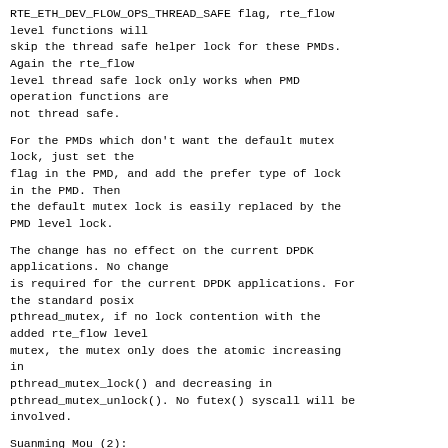RTE_ETH_DEV_FLOW_OPS_THREAD_SAFE flag, rte_flow level functions will
skip the thread safe helper lock for these PMDs. Again the rte_flow
level thread safe lock only works when PMD operation functions are
not thread safe.
For the PMDs which don't want the default mutex lock, just set the
flag in the PMD, and add the prefer type of lock in the PMD. Then
the default mutex lock is easily replaced by the PMD level lock.
The change has no effect on the current DPDK applications. No change
is required for the current DPDK applications. For the standard posix
pthread_mutex, if no lock contention with the added rte_flow level
mutex, the mutex only does the atomic increasing in
pthread_mutex_lock() and decreasing in
pthread_mutex_unlock(). No futex() syscall will be
involved.
Suanming Mou (2):
  eal/windows: add pthread mutex lock
  ethdev: make rte_flow API thread safe